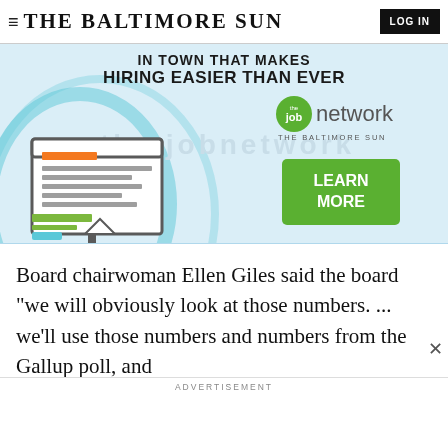≡ THE BALTIMORE SUN  LOG IN
[Figure (other): Advertisement banner for The Baltimore Sun's Job Network. Text reads 'IN TOWN THAT MAKES HIRING EASIER THAN EVER'. Shows the jobnetwork logo with a green circle and 'the job network THE BALTIMORE SUN' text, alongside a green 'LEARN MORE' button. Left side shows illustrated computer/resume graphic in teal/orange/gray.]
Board chairwoman Ellen Giles said the board "we will obviously look at those numbers. ... we'll use those numbers and numbers from the Gallup poll, and
ADVERTISEMENT